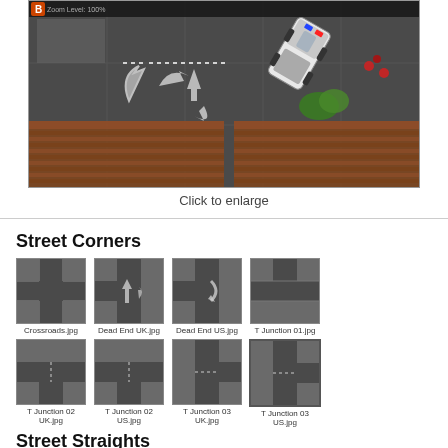[Figure (screenshot): Top-down view screenshot of a city/road tile game showing dark asphalt roads, brick sidewalks, a police car, arrow markers on the road surface, and small red objects. Interface shows 'Zoom Level: 100%' indicator at top left.]
Click to enlarge
Street Corners
[Figure (screenshot): Thumbnail of a street tile: Crossroads.jpg - dark road crossroads tile]
Crossroads.jpg
[Figure (screenshot): Thumbnail of a street tile: Dead End UK.jpg - dead end road tile UK style with arrow]
Dead End UK.jpg
[Figure (screenshot): Thumbnail of a street tile: Dead End US.jpg - dead end road tile US style with arrow]
Dead End US.jpg
[Figure (screenshot): Thumbnail of a street tile: T Junction 01.jpg - T junction road tile]
T Junction 01.jpg
[Figure (screenshot): Thumbnail of a street tile: T Junction 02 UK.jpg]
T Junction 02 UK.jpg
[Figure (screenshot): Thumbnail of a street tile: T Junction 02 US.jpg]
T Junction 02 US.jpg
[Figure (screenshot): Thumbnail of a street tile: T Junction 03 UK.jpg]
T Junction 03 UK.jpg
[Figure (screenshot): Thumbnail of a street tile: T Junction 03 US.jpg - highlighted/selected]
T Junction 03 US.jpg
Street Straights
[Figure (screenshot): Row of street straight tile thumbnails at bottom of page]